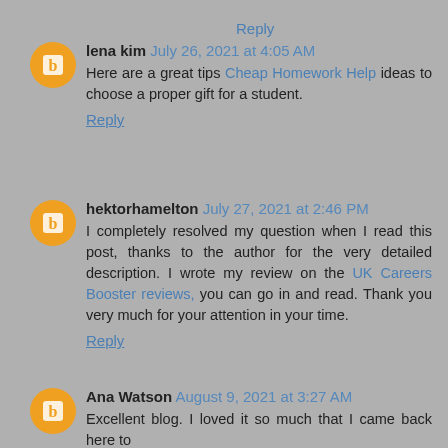Reply
lena kim July 26, 2021 at 4:05 AM
Here are a great tips Cheap Homework Help ideas to choose a proper gift for a student.
Reply
hektorhamelton July 27, 2021 at 2:46 PM
I completely resolved my question when I read this post, thanks to the author for the very detailed description. I wrote my review on the UK Careers Booster reviews, you can go in and read. Thank you very much for your attention in your time.
Reply
Ana Watson August 9, 2021 at 3:27 AM
Excellent blog. I loved it so much that I came back here to